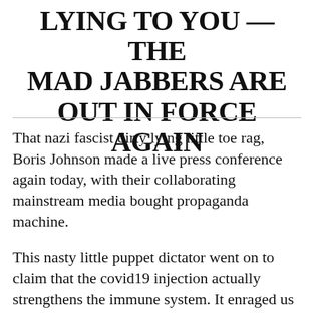LYING TO YOU — THE MAD JABBERS ARE OUT IN FORCE AGAIN
That nazi fascist dirty lying little toe rag, Boris Johnson made a live press conference again today, with their collaborating mainstream media bought propaganda machine.
This nasty little puppet dictator went on to claim that the covid19 injection actually strengthens the immune system. It enraged us to hear such preposterously outrageous ballyhoo. All that just so they can line their pockets with billions of pounds and to hell with the health of the general public.